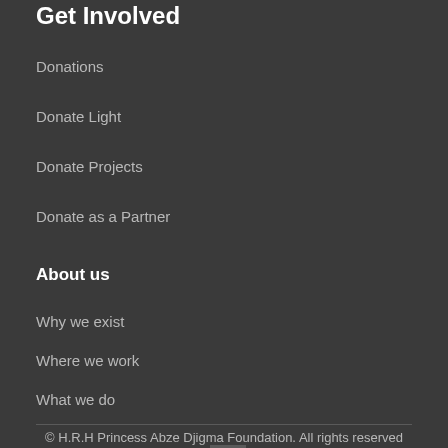Get Involved
Donations
Donate Light
Donate Projects
Donate as a Partner
About us
Why we exist
Where we work
What we do
© H.R.H Princess Abze Djigma Foundation. All rights reserved